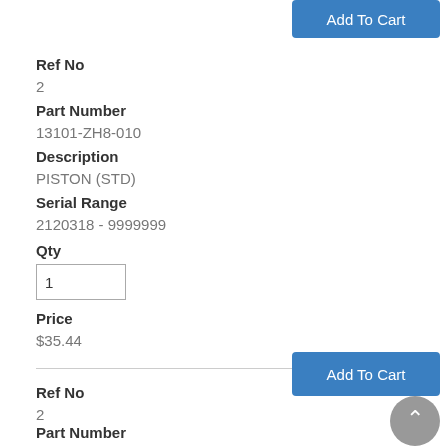Add To Cart
Ref No
2
Part Number
13101-ZH8-010
Description
PISTON (STD)
Serial Range
2120318 - 9999999
Qty
1
Price
$35.44
Add To Cart
Ref No
2
Part Number
13102-ZH8-000